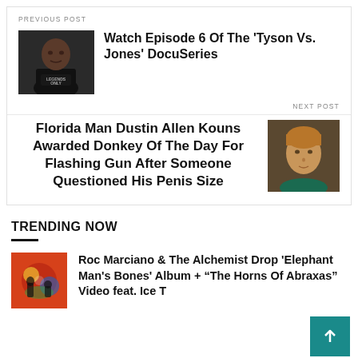[Figure (photo): Photo of a muscular man wearing a Legends Only t-shirt (Mike Tyson)]
PREVIOUS POST
Watch Episode 6 Of The 'Tyson Vs. Jones' DocuSeries
NEXT POST
Florida Man Dustin Allen Kouns Awarded Donkey Of The Day For Flashing Gun After Someone Questioned His Penis Size
[Figure (photo): Photo of a young man with brown hair]
TRENDING NOW
[Figure (photo): Album art for Roc Marciano & The Alchemist]
Roc Marciano & The Alchemist Drop 'Elephant Man's Bones' Album + “The Horns Of Abraxas” Video feat. Ice T